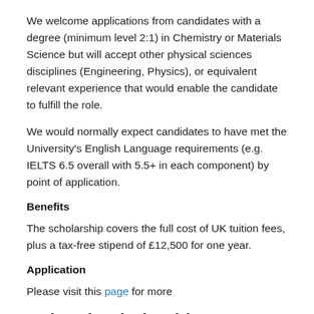We welcome applications from candidates with a degree (minimum level 2:1) in Chemistry or Materials Science but will accept other physical sciences disciplines (Engineering, Physics), or equivalent relevant experience that would enable the candidate to fulfill the role.
We would normally expect candidates to have met the University's English Language requirements (e.g. IELTS 6.5 overall with 5.5+ in each component) by point of application.
Benefits
The scholarship covers the full cost of UK tuition fees, plus a tax-free stipend of £12,500 for one year.
Application
Please visit this page for more
Related Scholarships